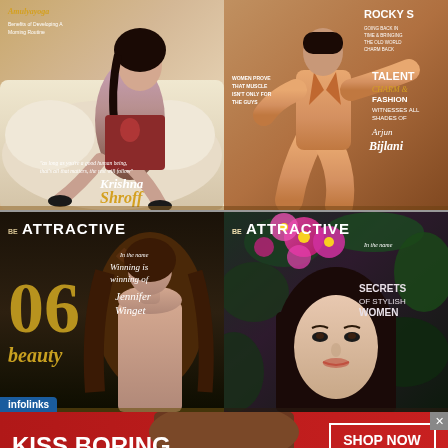[Figure (photo): Magazine cover featuring Krishna Shroff - woman reclining on white sofa with text overlay 'Benefits of Developing A Morning Routine' and 'as long as you're a good human being, that's all that matters, the rest will follow']
[Figure (photo): Magazine cover featuring Arjun Bijlani in orange suit - text: ROCKY S, GOING BACK IN TIME & BRINGING THE OLD WORLD CHARM BACK, WOMEN PROVE THAT MUSCLE ISN'T ONLY FOR THE GUYS, TALENT CHARM & FASHION WITNESSES ALL SHADES OF Arjun Bijlani]
[Figure (photo): BE ATTRACTIVE magazine cover with Jennifer Winget - dark background, gold number 06, beauty tips]
[Figure (photo): BE ATTRACTIVE magazine cover with woman among pink flowers and green leaves - SECRETS OF STYLISH WOMEN]
[Figure (photo): Macy's advertisement - woman's face with red lips, text: KISS BORING LIPS GOODBYE, SHOP NOW, Macy's logo with star]
infolinks